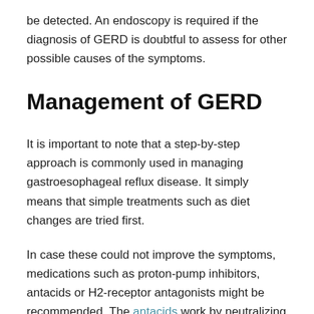be detected. An endoscopy is required if the diagnosis of GERD is doubtful to assess for other possible causes of the symptoms.
Management of GERD
It is important to note that a step-by-step approach is commonly used in managing gastroesophageal reflux disease. It simply means that simple treatments such as diet changes are tried first.
In case these could not improve the symptoms, medications such as proton-pump inhibitors, antacids or H2-receptor antagonists might be recommended. The antacids work by neutralizing the effects of stomach acid while H2-receptor antagonists and proton-pump inhibitors minimize the amount of acid produced by the stomach. In some circumstances, surgery might be needed in case medications could not manage the symptoms of GERD.
Possible complications